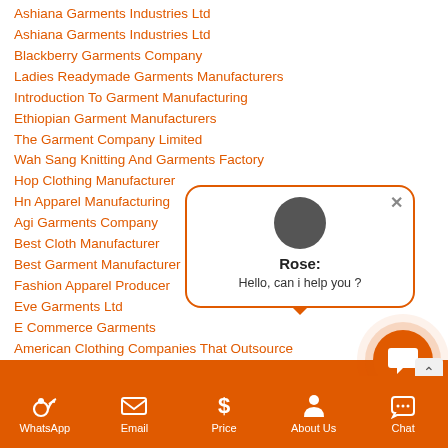Ashiana Garments Industries Ltd
Ashiana Garments Industries Ltd
Blackberry Garments Company
Ladies Readymade Garments Manufacturers
Introduction To Garment Manufacturing
Ethiopian Garment Manufacturers
The Garment Company Limited
Wah Sang Knitting And Garments Factory
Hop Clothing Manufacturer
Hn Apparel Manufacturing
Agi Garments Company
Best Cloth Manufacturer
Best Garment Manufacturer
Fashion Apparel Producer
Eve Garments Ltd
E Commerce Garments
American Clothing Companies That Outsource
The Sportswear Factory
New Born Baby Dress Manufacturers
Garment Making Factory
[Figure (screenshot): Chat popup with avatar of Rose saying Hello, can i help you?]
WhatsApp  Email  Price  About Us  Chat